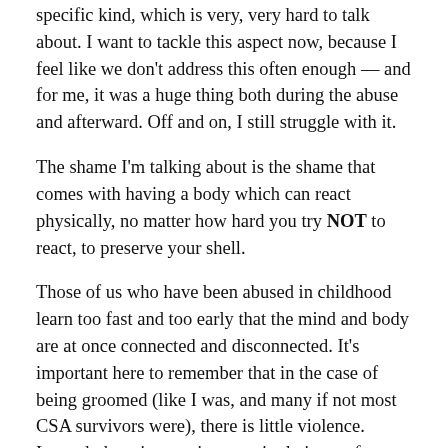specific kind, which is very, very hard to talk about. I want to tackle this aspect now, because I feel like we don't address this often enough — and for me, it was a huge thing both during the abuse and afterward. Off and on, I still struggle with it.
The shame I'm talking about is the shame that comes with having a body which can react physically, no matter how hard you try NOT to react, to preserve your shell.
Those of us who have been abused in childhood learn too fast and too early that the mind and body are at once connected and disconnected. It's important here to remember that in the case of being groomed (like I was, and many if not most CSA survivors were), there is little violence. Instead, there is coercion, manipulation, softness, (false) declarations of love, etc. Therefore often — not always, but often — the body